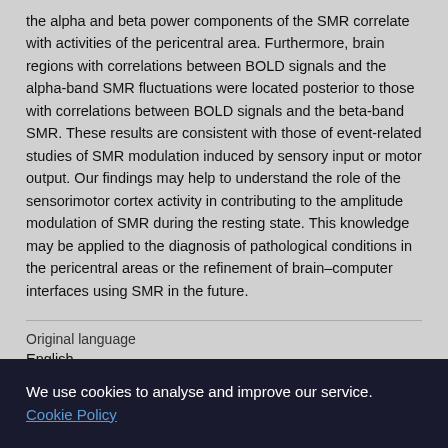the alpha and beta power components of the SMR correlate with activities of the pericentral area. Furthermore, brain regions with correlations between BOLD signals and the alpha-band SMR fluctuations were located posterior to those with correlations between BOLD signals and the beta-band SMR. These results are consistent with those of event-related studies of SMR modulation induced by sensory input or motor output. Our findings may help to understand the role of the sensorimotor cortex activity in contributing to the amplitude modulation of SMR during the resting state. This knowledge may be applied to the diagnosis of pathological conditions in the pericentral areas or the refinement of brain–computer interfaces using SMR in the future.
Original language
English
We use cookies to analyse and improve our service. Cookie Policy